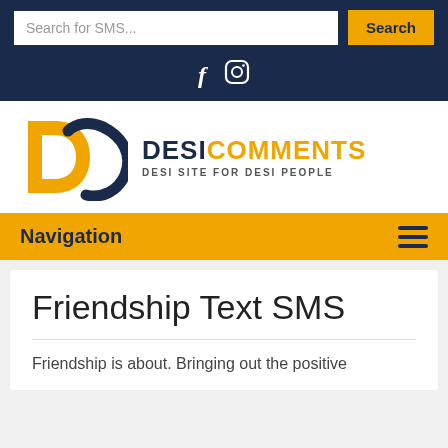[Figure (screenshot): Search bar with text 'Search for SMS...' and orange 'Search' button on dark navy background]
[Figure (logo): Facebook and Instagram social media icons on dark navy background]
[Figure (logo): DesiComments logo with DC letters graphic, text 'DESICOMMENTS' and tagline 'DESI SITE FOR DESI PEOPLE']
Navigation
Friendship Text SMS
Friendship is about. Bringing out the positive